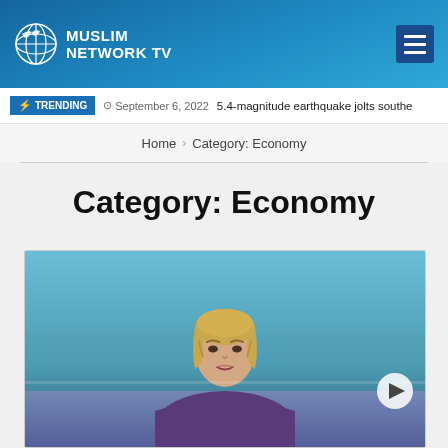MUSLIM NETWORK TV
TRENDING  September 6, 2022  5.4-magnitude earthquake jolts southe
Home › Category: Economy
Category: Economy
[Figure (photo): A woman with blonde hair speaking at a podium against a light blue background, wearing a purple jacket. Appears to be a political figure at a press conference or speech.]